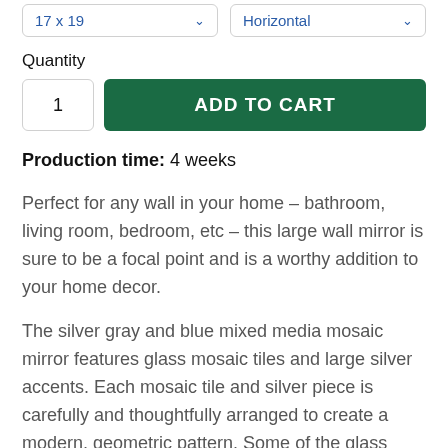17 x 19  Horizontal
Quantity
1  ADD TO CART
Production time: 4 weeks
Perfect for any wall in your home – bathroom, living room, bedroom, etc – this large wall mirror is sure to be a focal point and is a worthy addition to your home decor.
The silver gray and blue mixed media mosaic mirror features glass mosaic tiles and large silver accents. Each mosaic tile and silver piece is carefully and thoughtfully arranged to create a modern, geometric pattern. Some of the glass